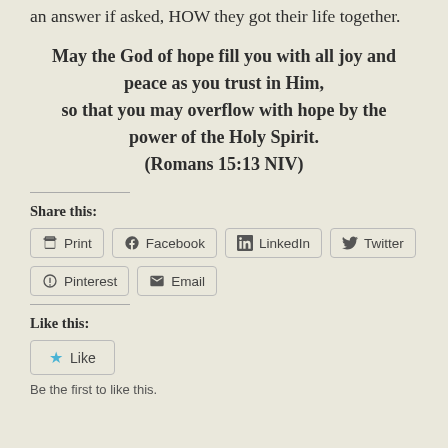an answer if asked, HOW they got their life together.
May the God of hope fill you with all joy and peace as you trust in Him, so that you may overflow with hope by the power of the Holy Spirit. (Romans 15:13 NIV)
Share this:
Print | Facebook | LinkedIn | Twitter | Pinterest | Email
Like this:
Like
Be the first to like this.